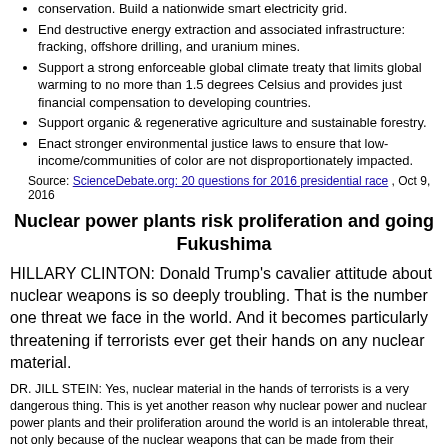conservation. Build a nationwide smart electricity grid.
End destructive energy extraction and associated infrastructure: fracking, offshore drilling, and uranium mines.
Support a strong enforceable global climate treaty that limits global warming to no more than 1.5 degrees Celsius and provides just financial compensation to developing countries.
Support organic & regenerative agriculture and sustainable forestry.
Enact stronger environmental justice laws to ensure that low-income/communities of color are not disproportionately impacted.
Source: ScienceDebate.org: 20 questions for 2016 presidential race , Oct 9, 2016
Nuclear power plants risk proliferation and going Fukushima
HILLARY CLINTON: Donald Trump's cavalier attitude about nuclear weapons is so deeply troubling. That is the number one threat we face in the world. And it becomes particularly threatening if terrorists ever get their hands on any nuclear material.
DR. JILL STEIN: Yes, nuclear material in the hands of terrorists is a very dangerous thing. This is yet another reason why nuclear power and nuclear power plants and their proliferation around the world is an intolerable threat, not only because of the nuclear weapons that can be made from their materials once they have been used, but also because of the inherent dangers of nuclear power, particularly in the era of climate change. In our country, we have something like 16 nuclear power plants which are located at sea level. Right now, we could see as much as nine feet of sea level rise as soon as 2050, which means that our 16 or so nuclear power plants are all going Fukushima.
Source: DemocracyNow interview on First 2016 Presidential Debate , Sep 27, 2016